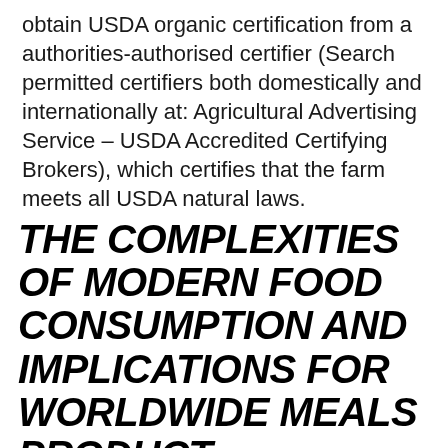obtain USDA organic certification from a authorities-authorised certifier (Search permitted certifiers both domestically and internationally at: Agricultural Advertising Service – USDA Accredited Certifying Brokers), which certifies that the farm meets all USDA natural laws.
THE COMPLEXITIES OF MODERN FOOD CONSUMPTION AND IMPLICATIONS FOR WORLDWIDE MEALS PRODUCT